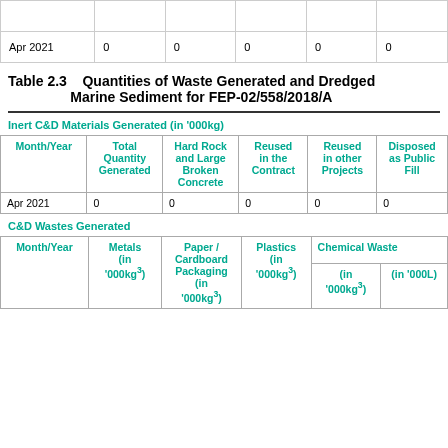|  |  |  |  |  |  |
| --- | --- | --- | --- | --- | --- |
| Apr 2021 | 0 | 0 | 0 | 0 | 0 |
Table 2.3    Quantities of Waste Generated and Dredged Marine Sediment for FEP-02/558/2018/A
Inert C&D Materials Generated (in ‘000kg)
| Month/Year | Total Quantity Generated | Hard Rock and Large Broken Concrete | Reused in the Contract | Reused in other Projects | Disposed as Public Fill |
| --- | --- | --- | --- | --- | --- |
| Apr 2021 | 0 | 0 | 0 | 0 | 0 |
C&D Wastes Generated
| Month/Year | Metals (in ‘000kg³) | Paper / Cardboard Packaging (in ‘000kg³) | Plastics (in ‘000kg³) | Chemical Waste (in ‘000kg³) | Chemical Waste (in ‘000L) |
| --- | --- | --- | --- | --- | --- |